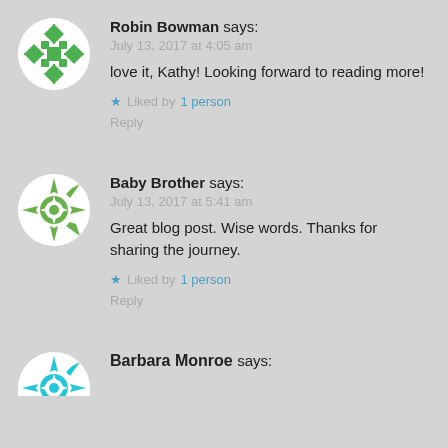[Figure (illustration): Round avatar with green geometric snowflake/quilt pattern on white background for Robin Bowman]
Robin Bowman says:
July 13, 2017 at 4:05 am
love it, Kathy! Looking forward to reading more!
★ Liked by 1 person
Reply
[Figure (illustration): Round avatar with green and white geometric snowflake pattern for Baby Brother]
Baby Brother says:
July 13, 2017 at 5:41 am
Great blog post. Wise words. Thanks for sharing the journey.
★ Liked by 1 person
Reply
[Figure (illustration): Partial round avatar with teal/cyan geometric pattern for Barbara Monroe (cropped at bottom)]
Barbara Monroe says: